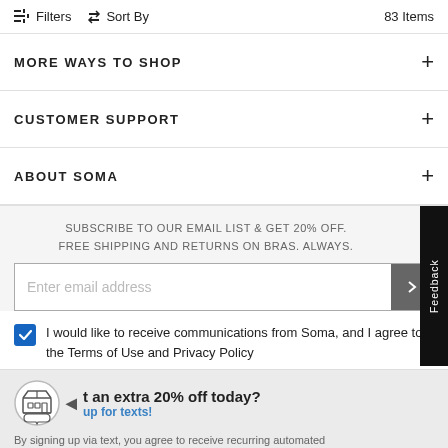Filters   Sort By   83 Items
MORE WAYS TO SHOP
CUSTOMER SUPPORT
ABOUT SOMA
SUBSCRIBE TO OUR EMAIL LIST & GET 20% OFF. FREE SHIPPING AND RETURNS ON BRAS. ALWAYS.
Enter email address
Feedback
I would like to receive communications from Soma, and I agree to the Terms of Use and Privacy Policy
t an extra 20% off today?
up for texts!
By signing up via text, you agree to receive recurring automated